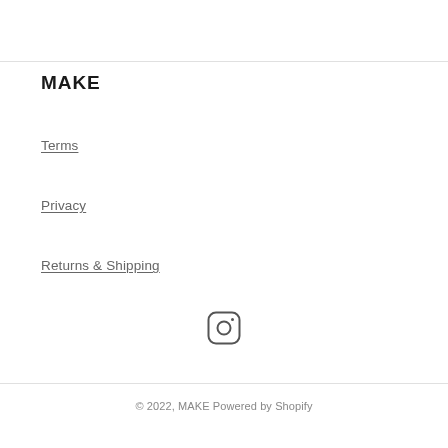MAKE
Terms
Privacy
Returns & Shipping
[Figure (logo): Instagram icon — rounded square with circle and dot inside]
© 2022, MAKE Powered by Shopify